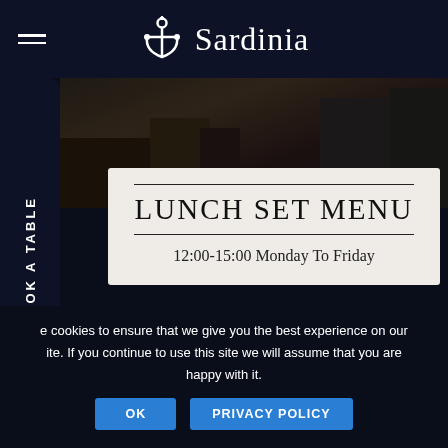Sardinia — navigation bar with logo and hamburger menu
LUNCH SET MENU
12:00-15:00 Monday To Friday
e cookies to ensure that we give you the best experience on our ite. If you continue to use this site we will assume that you are happy with it.
OK | PRIVACY POLICY